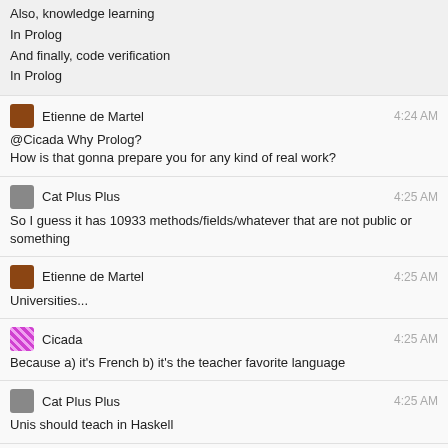Also, knowledge learning
In Prolog
And finally, code verification
In Prolog
Etienne de Martel 4:24 AM
@Cicada Why Prolog?
How is that gonna prepare you for any kind of real work?
Cat Plus Plus 4:25 AM
So I guess it has 10933 methods/fields/whatever that are not public or something
Etienne de Martel 4:25 AM
Universities...
Cicada 4:25 AM
Because a) it's French b) it's the teacher favorite language
Cat Plus Plus 4:25 AM
Unis should teach in Haskell
Etienne de Martel 4:25 AM
@Cicada Right.
@CatPlusPlus Actually, that would be a great fit. Because it's a language that has no real use outside of academia.
Cat Plus Plus 4:25 AM